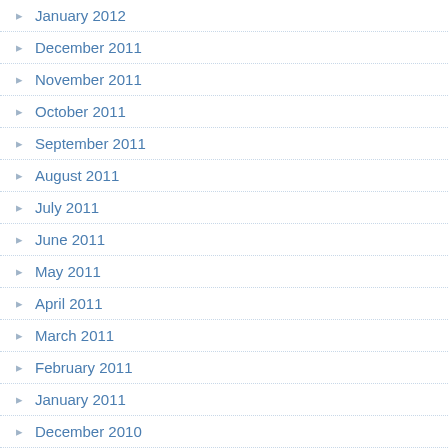January 2012
December 2011
November 2011
October 2011
September 2011
August 2011
July 2011
June 2011
May 2011
April 2011
March 2011
February 2011
January 2011
December 2010
November 2010
October 2010